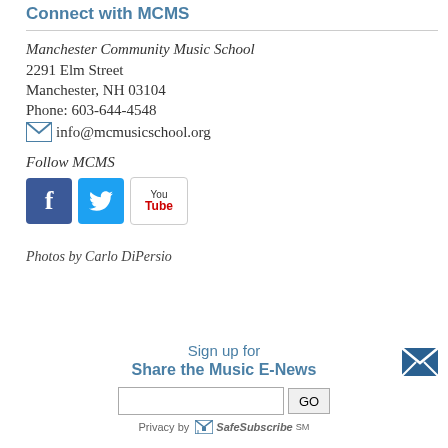Connect with MCMS
Manchester Community Music School
2291 Elm Street
Manchester, NH 03104
Phone: 603-644-4548
info@mcmusicschool.org
Follow MCMS
[Figure (logo): Facebook, Twitter, and YouTube social media icons]
Photos by Carlo DiPersio
Sign up for Share the Music E-News
[Figure (infographic): Email envelope icon (top right of sign-up section)]
Privacy by SafeSubscribe℠